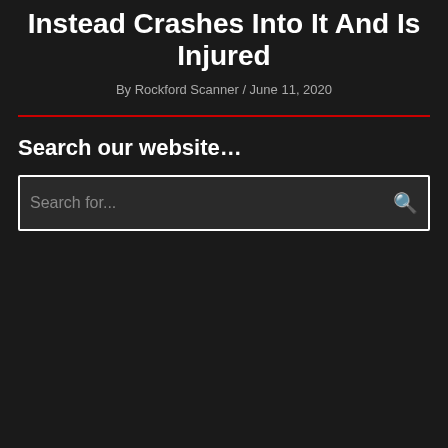Instead Crashes Into It And Is Injured
By Rockford Scanner / June 11, 2020
Search our website…
Search for...